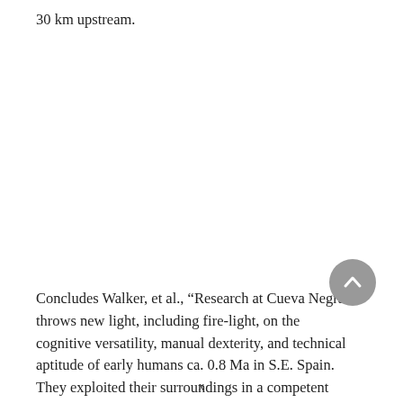30 km upstream.
Concludes Walker, et al., “Research at Cueva Negra throws new light, including fire-light, on the cognitive versatility, manual dexterity, and technical aptitude of early humans ca. 0.8 Ma in S.E. Spain. They exploited their surroundings in a competent fashion that implies precise knowledge and accurate
x